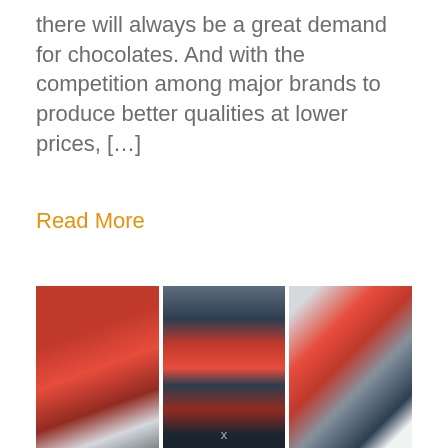there will always be a great demand for chocolates. And with the competition among major brands to produce better qualities at lower prices, […]
Read More
[Figure (photo): Three side-by-side photos: a meat display case with red cuts of meat, packaged meat products on supermarket shelves, and a butcher in a white hat holding a large cut of meat.]